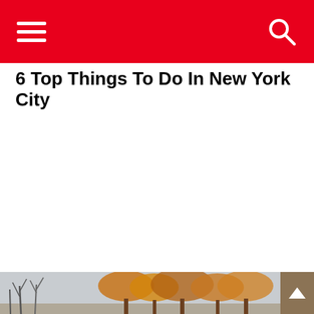6 Top Things To Do In New York City
[Figure (photo): Autumn trees with bare branches and orange/brown foliage against a grey sky, partial image at the bottom of the page]